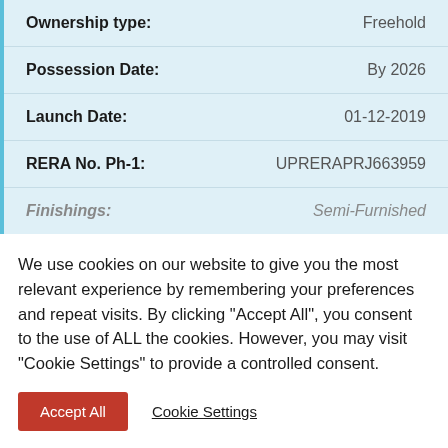| Field | Value |
| --- | --- |
| Ownership type: | Freehold |
| Possession Date: | By 2026 |
| Launch Date: | 01-12-2019 |
| RERA No. Ph-1: | UPRERAPRJ663959 |
| Finishings: | Semi-Furnished |
We use cookies on our website to give you the most relevant experience by remembering your preferences and repeat visits. By clicking "Accept All", you consent to the use of ALL the cookies. However, you may visit "Cookie Settings" to provide a controlled consent.
Accept All   Cookie Settings